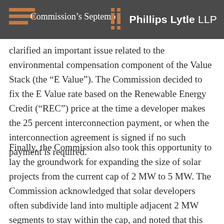The Commission's September 1, Phillips Lytle LLP
The Commission's September 1, clarified an important issue related to the environmental compensation component of the Value Stack (the “E Value”). The Commission decided to fix the E Value rate based on the Renewable Energy Credit (“REC”) price at the time a developer makes the 25 percent interconnection payment, or when the interconnection agreement is signed if no such payment is required.
Finally, the Commission also took this opportunity to lay the groundwork for expanding the size of solar projects from the current cap of 2 MW to 5 MW. The Commission acknowledged that solar developers often subdivide land into multiple adjacent 2 MW segments to stay within the cap, and noted that this complicates the development